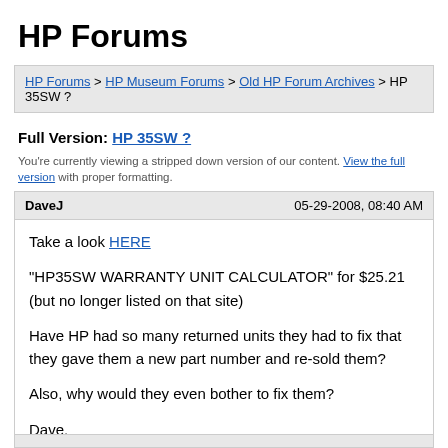HP Forums
HP Forums > HP Museum Forums > Old HP Forum Archives > HP 35SW ?
Full Version: HP 35SW ?
You're currently viewing a stripped down version of our content. View the full version with proper formatting.
DaveJ  05-29-2008, 08:40 AM
Take a look HERE

"HP35SW WARRANTY UNIT CALCULATOR" for $25.21 (but no longer listed on that site)

Have HP had so many returned units they had to fix that they gave them a new part number and re-sold them?

Also, why would they even bother to fix them?

Dave.